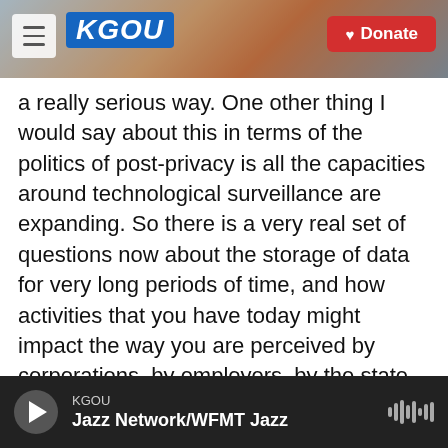KGOU [logo with city skyline background] Donate
a really serious way. One other thing I would say about this in terms of the politics of post-privacy is all the capacities around technological surveillance are expanding. So there is a very real set of questions now about the storage of data for very long periods of time, and how activities that you have today might impact the way you are perceived by corporations, by employers, by the state, by insurance companies decades down the road. So it's more than just a kind of right-to-privacy that is at stake here, I think it's the very terms of a social contract. And the fact that it is emerging slowly through emerging technologies makes it so
KGOU | Jazz Network/WFMT Jazz